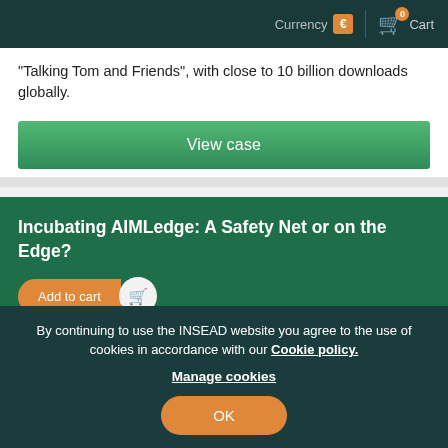Currency € | 0 Cart
"Talking Tom and Friends", with close to 10 billion downloads globally.
View case
Incubating AIMLedge: A Safety Net or on the Edge?
Add to cart
By Melanie Milovac, Siddharth   Published 29 Oct 2018
By continuing to use the INSEAD website you agree to the use of cookies in accordance with our Cookie policy. Manage cookies OK